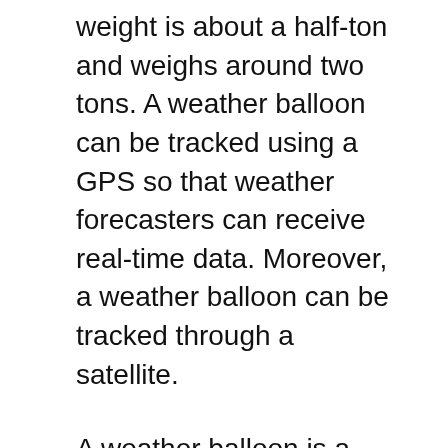weight is about a half-ton and weighs around two tons. A weather balloon can be tracked using a GPS so that weather forecasters can receive real-time data. Moreover, a weather balloon can be tracked through a satellite.
A weather balloon is a great tool to gather weather data and a cost-effective option. But it costs money, so not many people can afford to launch their balloon. Besides, it can be challenging to pay the high price of helium and hydrogen, which can be used for rocket fuel. But if you're in a